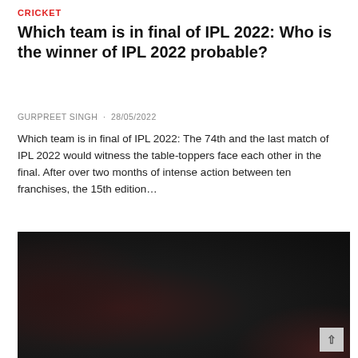CRICKET
Which team is in final of IPL 2022: Who is the winner of IPL 2022 probable?
GURPREET SINGH · 28/05/2022
Which team is in final of IPL 2022: The 74th and the last match of IPL 2022 would witness the table-toppers face each other in the final. After over two months of intense action between ten franchises, the 15th edition…
[Figure (photo): Dark blurred photograph, likely of a cricket match or players, with very low lighting and dark tones throughout. A scroll-to-top button is visible in the bottom-right corner.]